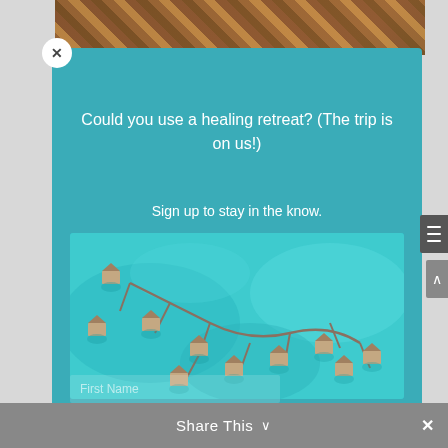[Figure (photo): Top strip showing colorful boats (orange/yellow) from above, dark background]
Could you use a healing retreat? (The trip is on us!)
Sign up to stay in the know.
[Figure (photo): Aerial view of overwater bungalows connected by walkways over turquoise blue-green water, tropical resort]
Share This ∨  ×